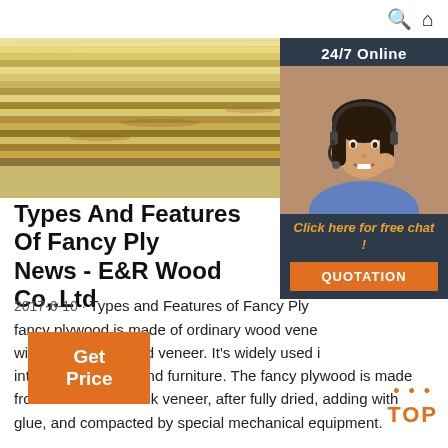Search | Home
[Figure (photo): Stack of fancy plywood sheets showing layered wood veneer edge view, light wood tones]
[Figure (photo): 24/7 Online support widget with woman wearing headset, Click here for free chat, QUOTATION button]
Types And Features Of Fancy Plywood News - E&R Wood Co,.Ltd
2017-6-10 · Types and Features of Fancy Plywood fancy plywood is made of ordinary wood veneer with a precious wood veneer. It's widely used in interior decoration and furniture. The fancy plywood is made from about 1mm thick veneer, after fully dried, adding with glue, and compacted by special mechanical equipment.
Get Price
TOP